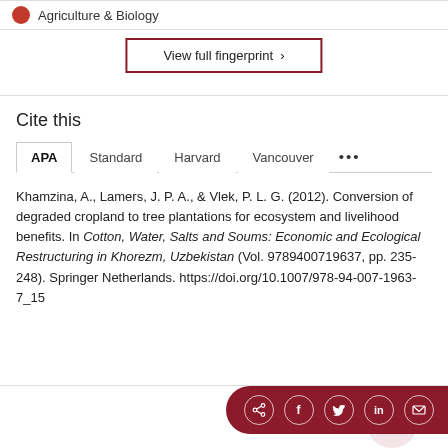Agriculture & Biology
View full fingerprint >
Cite this
APA  Standard  Harvard  Vancouver  ...
Khamzina, A., Lamers, J. P. A., & Vlek, P. L. G. (2012). Conversion of degraded cropland to tree plantations for ecosystem and livelihood benefits. In Cotton, Water, Salts and Soums: Economic and Ecological Restructuring in Khorezm, Uzbekistan (Vol. 9789400719637, pp. 235-248). Springer Netherlands. https://doi.org/10.1007/978-94-007-1963-7_15